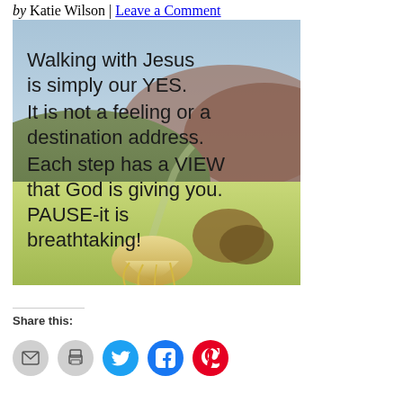by Katie Wilson | Leave a Comment
[Figure (illustration): Inspirational quote image over a scenic landscape with rolling green hills and a figure with blonde hair. Text reads: 'Walking with Jesus is simply our YES. It is not a feeling or a destination address. Each step has a VIEW that God is giving you. PAUSE-it is breathtaking!']
Share this:
[Figure (infographic): Row of social share buttons: email (grey), print (grey), Twitter (cyan), Facebook (blue), Pinterest (red)]